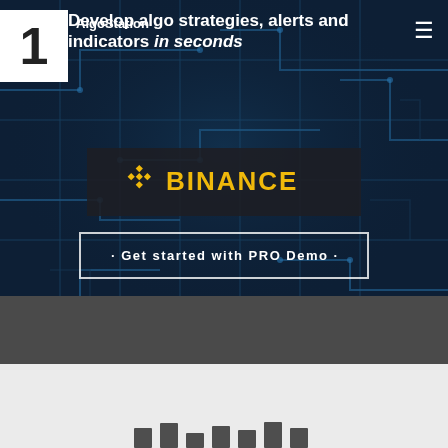[Figure (screenshot): Website screenshot of AlgoStation platform showing circuit board background with Binance logo banner and CTA button]
1 AlgoStation
Develop algo strategies, alerts and indicators in seconds
[Figure (logo): Binance logo with diamond shape icon and text BINANCE in gold/yellow on dark background]
Get started with PRO Demo